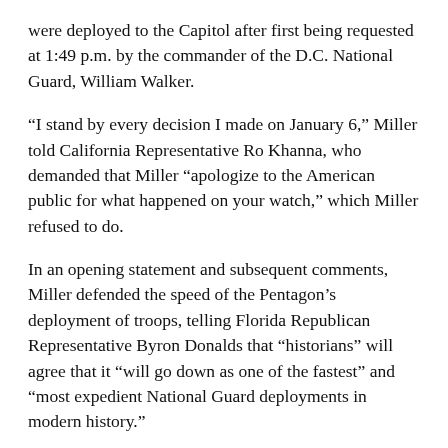were deployed to the Capitol after first being requested at 1:49 p.m. by the commander of the D.C. National Guard, William Walker.
“I stand by every decision I made on January 6,” Miller told California Representative Ro Khanna, who demanded that Miller “apologize to the American public for what happened on your watch,” which Miller refused to do.
In an opening statement and subsequent comments, Miller defended the speed of the Pentagon’s deployment of troops, telling Florida Republican Representative Byron Donalds that “historians” will agree that it “will go down as one of the fastest” and “most expedient National Guard deployments in modern history.”
This lie was too big to ignore even for the feckless Democrats, prompting New York Representative Alexandria Ocasio-Cortez to contrast Miller’s testimony